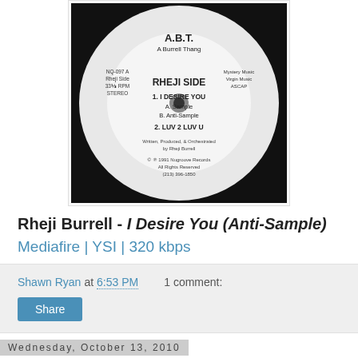[Figure (photo): Vinyl record label showing A.B.T. (A Burrell Thang), Rheji Side, with track listing: 1. I Desire You (A. Sample, B. Anti-Sample), 2. Luv 2 Luv U. Label shows NQ-097 A, 33⅓ RPM, Stereo. Written, Produced & Orchestrated by Rheji Burrell. © 1991 Nugroove Records.]
Rheji Burrell - I Desire You (Anti-Sample)
Mediafire | YSI | 320 kbps
Shawn Ryan at 6:53 PM     1 comment:
Share
Wednesday, October 13, 2010
Fresh Produce Zombie Bash 10/29